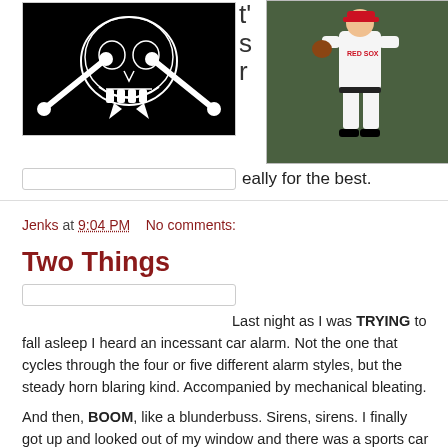[Figure (photo): Dark image with white skull and crossbones illustration on black background]
[Figure (photo): Baseball player in Red Sox uniform fielding]
eally for the best.
Jenks at 9:04 PM   No comments:
Two Things
Last night as I was TRYING to fall asleep I heard an incessant car alarm. Not the one that cycles through the four or five different alarm styles, but the steady horn blaring kind. Accompanied by mechanical bleating.
And then, BOOM, like a blunderbuss. Sirens, sirens. I finally got up and looked out of my window and there was a sports car burning like it got raced in a drag race. Racing! The